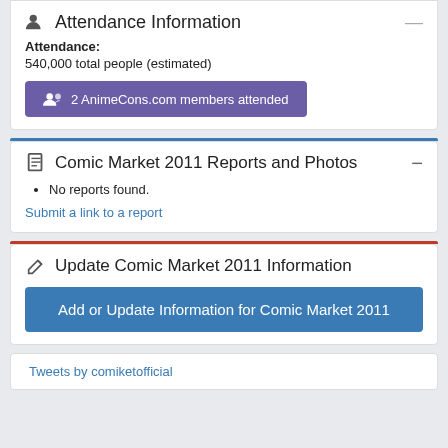Attendance Information
Attendance: 540,000 total people (estimated)
2 AnimeCons.com members attended
Comic Market 2011 Reports and Photos
No reports found.
Submit a link to a report
Update Comic Market 2011 Information
Add or Update Information for Comic Market 2011
Tweets by comiketofficial